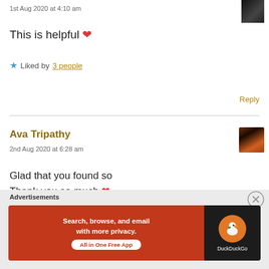1st Aug 2020 at 4:10 am
This is helpful ❤
★ Liked by 3 people
Reply
Ava Tripathy
2nd Aug 2020 at 6:28 am
Glad that you found so
Thank you so much ❤
Advertisements
[Figure (screenshot): DuckDuckGo advertisement banner: Search, browse, and email with more privacy. All in One Free App.]